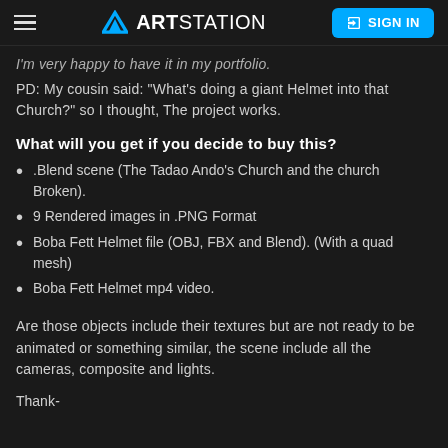ArtStation — SIGN IN
I'm very happy to have it in my portfolio.
PD: My cousin said: "What's doing a giant Helmet into that Church?" so I thought, The project works.
What will you get if you decide to buy this?
.Blend scene (The Tadao Ando's Church and the church Broken).
9 Rendered images in .PNG Format
Boba Fett Helmet file (OBJ, FBX and Blend). (With a quad mesh)
Boba Fett Helmet mp4 video.
Are those objects include their textures but are not ready to be animated or something similar, the scene include all the cameras, composite and lights.
Thank-